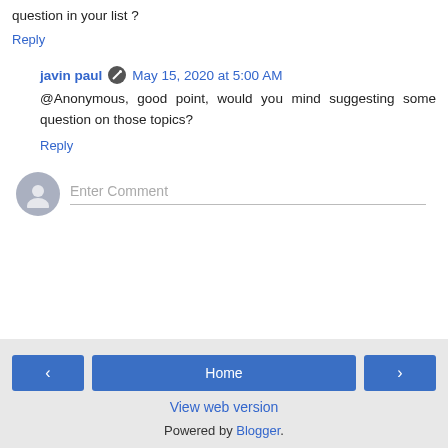question in your list ?
Reply
javin paul · May 15, 2020 at 5:00 AM
@Anonymous, good point, would you mind suggesting some question on those topics?
Reply
Enter Comment
Home
View web version
Powered by Blogger.